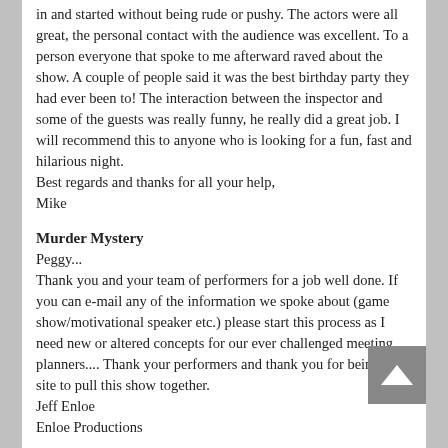in and started without being rude or pushy.  The actors were all great, the personal contact with the audience was excellent.  To a person everyone that spoke to me afterward raved about the show.  A couple of people said it was the best birthday party they had ever been to!  The interaction between the inspector and some of the guests was really funny, he really did a great job.  I will recommend this to anyone who is looking for a fun, fast and hilarious night.
Best regards and thanks for all your help,
Mike
Murder Mystery
Peggy...
Thank you and your team of performers for a job well done. If you can e-mail any of the information we spoke about (game show/motivational speaker etc.) please start this process as I need new or altered concepts for our ever challenged meeting planners.... Thank your performers and thank you for being on site to pull this show together.
Jeff Enloe
Enloe Productions
Murder Mystery
Good Morning Peggy,
We all think the Sho[...] AT. The actors were